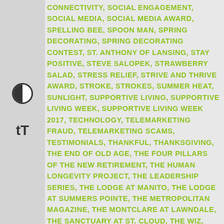CONNECTIVITY, SOCIAL ENGAGEMENT, SOCIAL MEDIA, SOCIAL MEDIA AWARD, SPELLING BEE, SPOON MAN, SPRING DECORATING, SPRING DECORATING CONTEST, ST. ANTHONY OF LANSING, STAY POSITIVE, STEVE SALOPEK, STRAWBERRY SALAD, STRESS RELIEF, STRIVE AND THRIVE AWARD, STROKE, STROKES, SUMMER HEAT, SUNLIGHT, SUPPORTIVE LIVING, SUPPORTIVE LIVING WEEK, SUPPORTIVE LIVING WEEK 2017, TECHNOLOGY, TELEMARKETING FRAUD, TELEMARKETING SCAMS, TESTIMONIALS, THANKFUL, THANKSGIVING, THE END OF OLD AGE, THE FOUR PILLARS OF THE NEW RETIREMENT, THE HUMAN LONGEVITY PROJECT, THE LEADERSHIP SERIES, THE LODGE AT MANITO, THE LODGE AT SUMMERS POINTE, THE METROPOLITAN MAGAZINE, THE MONTCLARE AT LAWNDALE, THE SANCTUARY AT ST. CLOUD, THE WIZ, THEODORE "DOUBLE